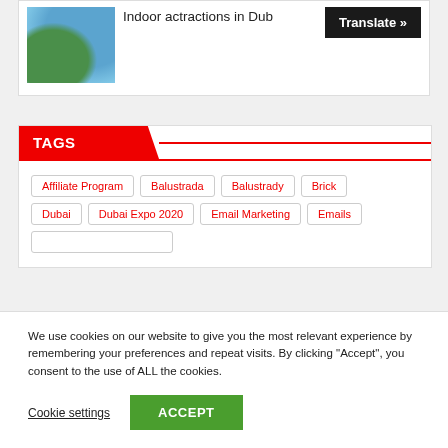[Figure (photo): Thumbnail photo of Dubai waterfront with palm trees and blue sky]
Indoor actractions in Dub...
Translate »
TAGS
Affiliate Program
Balustrada
Balustrady
Brick
Dubai
Dubai Expo 2020
Email Marketing
Emails
We use cookies on our website to give you the most relevant experience by remembering your preferences and repeat visits. By clicking “Accept”, you consent to the use of ALL the cookies.
Cookie settings
ACCEPT